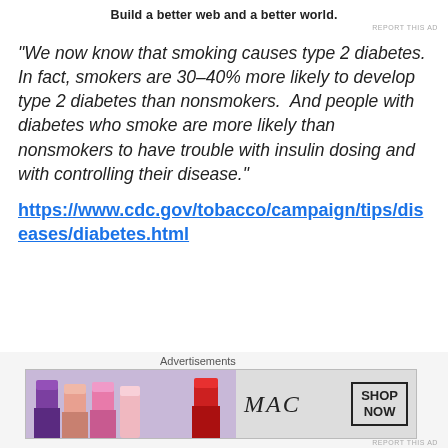Build a better web and a better world.
REPORT THIS AD
“We now know that smoking causes type 2 diabetes. In fact, smokers are 30–40% more likely to develop type 2 diabetes than nonsmokers.  And people with diabetes who smoke are more likely than nonsmokers to have trouble with insulin dosing and with controlling their disease.”
https://www.cdc.gov/tobacco/campaign/tips/diseases/diabetes.html
[Figure (other): Close/dismiss button (circled X icon)]
Advertisements
[Figure (photo): MAC cosmetics advertisement banner showing lipsticks in purple, pink and red shades with MAC logo and SHOP NOW button]